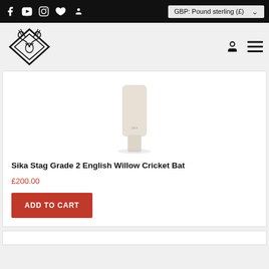GBP: Pound sterling (£)
[Figure (logo): Sika Stag brand logo — geometric stag/diamond outline in black]
[Figure (photo): Sika Stag Grade 2 English Willow Cricket Bat product image — cream/off-white bat face visible from top]
Sika Stag Grade 2 English Willow Cricket Bat
£200.00
ADD TO CART